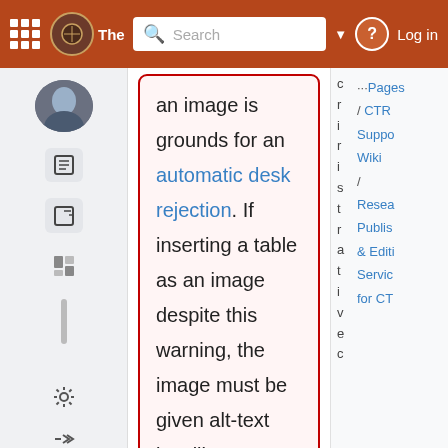The [Wiki site] — Search — Log in
an image is grounds for an automatic desk rejection. If inserting a table as an image despite this warning, the image must be given alt-text just like any other image.
Figures and non-text objects
There are two major
Pages / CTR Suppo Wiki / Resea Publis & Editi Servic for CT